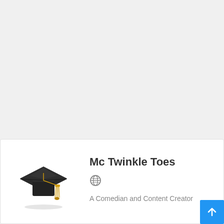[Figure (illustration): Graduation mortarboard cap with golden tassel, 3D rendered illustration]
Mc Twinkle Toes
[Figure (other): Globe/website icon]
A Comedian and Content Creator